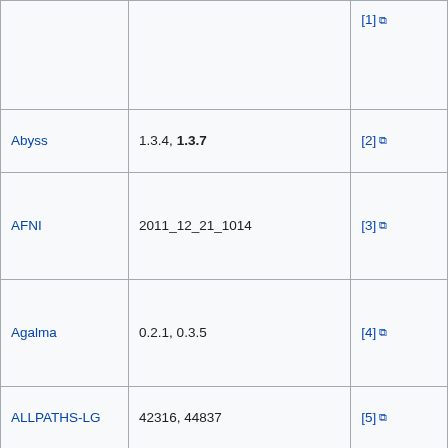| Software | Versions | Reference |
| --- | --- | --- |
|  |  | [1] |
| Abyss | 1.3.4, 1.3.7 | [2] |
| AFNI | 2011_12_21_1014 | [3] |
| Agalma | 0.2.1, 0.3.5 | [4] |
| ALLPATHS-LG | 42316, 44837 | [5] |
| Amber | 11, 12, 14 | [6] |
| AMOS | 3.1.0 | [7] |
| ANNOVAR | 20120621, 20121023, 20130321 | [8] |